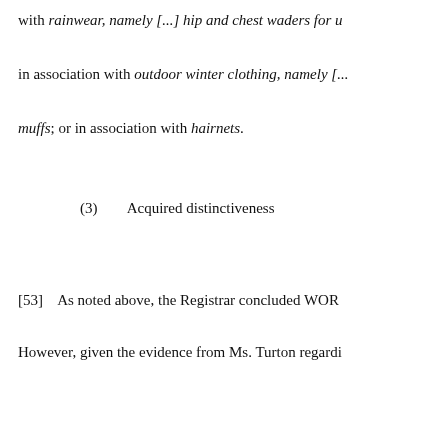with rainwear, namely [...] hip and chest waders for u
in association with outdoor winter clothing, namely [...
muffs; or in association with hairnets.
(3)        Acquired distinctiveness
[53]    As noted above, the Registrar concluded WOR
However, given the evidence from Ms. Turton regardi